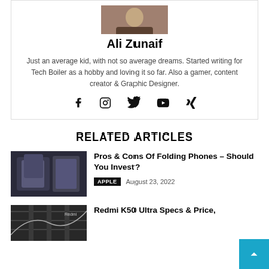[Figure (photo): Author photo of Ali Zunaif showing a person in a dark jacket]
Ali Zunaif
Just an average kid, with not so average dreams. Started writing for Tech Boiler as a hobby and loving it so far. Also a gamer, content creator & Graphic Designer.
[Figure (infographic): Social media icons: Facebook, Instagram, Twitter, YouTube, Xing]
RELATED ARTICLES
[Figure (photo): Thumbnail of folding phones article]
Pros & Cons Of Folding Phones – Should You Invest?
APPLE   August 23, 2022
[Figure (photo): Thumbnail of Redmi K50 Ultra article]
Redmi K50 Ultra Specs & Price,